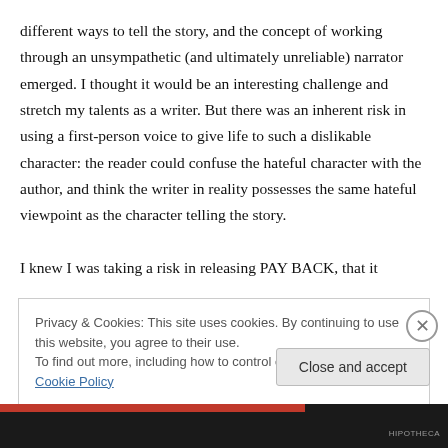different ways to tell the story, and the concept of working through an unsympathetic (and ultimately unreliable) narrator emerged. I thought it would be an interesting challenge and stretch my talents as a writer. But there was an inherent risk in using a first-person voice to give life to such a dislikable character: the reader could confuse the hateful character with the author, and think the writer in reality possesses the same hateful viewpoint as the character telling the story.

I knew I was taking a risk in releasing PAY BACK, that it
Privacy & Cookies: This site uses cookies. By continuing to use this website, you agree to their use.
To find out more, including how to control cookies, see here: Cookie Policy
Close and accept